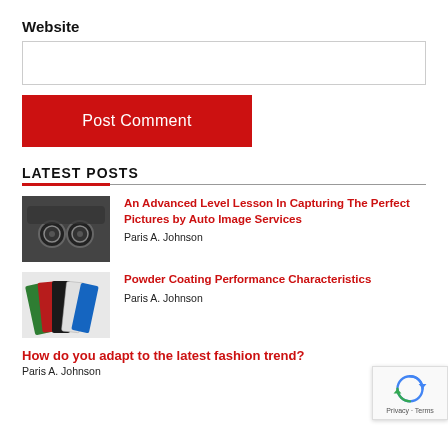Website
[input box]
Post Comment
LATEST POSTS
[Figure (photo): Black and white photo of car interior controls/knobs]
An Advanced Level Lesson In Capturing The Perfect Pictures by Auto Image Services
Paris A. Johnson
[Figure (photo): Colorful powder coating samples in green, red, black, white, blue]
Powder Coating Performance Characteristics
Paris A. Johnson
How do you adapt to the latest fashion trend?
Paris A. Johnson